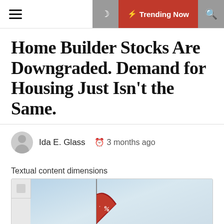≡  🌙  ⚡ Trending Now  🔍
Home Builder Stocks Are Downgraded. Demand for Housing Just Isn't the Same.
Ida E. Glass  🕐 3 months ago
Textual content dimensions
[Figure (photo): Photo of a red real estate sale flag/banner against a light blue sky background]